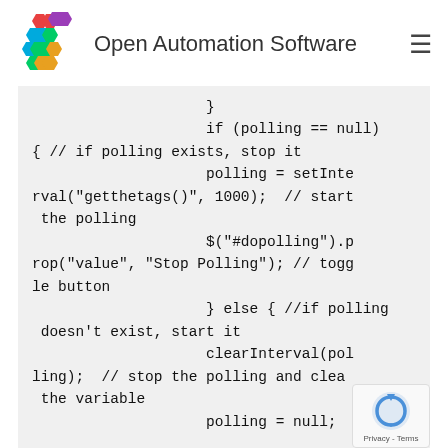Open Automation Software
[Figure (screenshot): Code block showing JavaScript polling logic with if/else conditionals using setInterval, clearInterval, and jQuery DOM manipulation for a polling button toggle.]